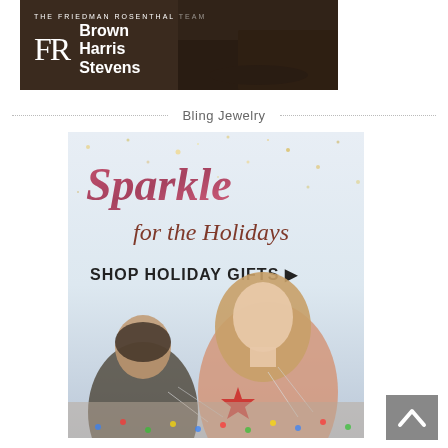[Figure (advertisement): Brown Harris Stevens real estate advertisement with FR logo and 'THE FRIEDMAN ROSENTHAL TEAM' subtitle on dark brown background]
Bling Jewelry
[Figure (advertisement): Bling Jewelry holiday advertisement with sparkle text reading 'Sparkle for the Holidays' and 'SHOP HOLIDAY GIFTS ▶', showing couple with jewelry and holiday decorations]
[Figure (other): Back to top navigation button with upward arrow chevron on gray background]